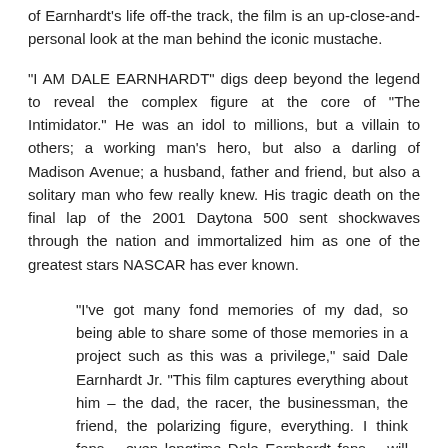of Earnhardt's life off-the track, the film is an up-close-and-personal look at the man behind the iconic mustache.
"I AM DALE EARNHARDT" digs deep beyond the legend to reveal the complex figure at the core of "The Intimidator." He was an idol to millions, but a villain to others; a working man's hero, but also a darling of Madison Avenue; a husband, father and friend, but also a solitary man who few really knew. His tragic death on the final lap of the 2001 Daytona 500 sent shockwaves through the nation and immortalized him as one of the greatest stars NASCAR has ever known.
"I've got many fond memories of my dad, so being able to share some of those memories in a project such as this was a privilege," said Dale Earnhardt Jr. "This film captures everything about him – the dad, the racer, the businessman, the friend, the polarizing figure, everything. I think fans – even longtime Dale Earnhardt fans – will find themselves learning new things about my